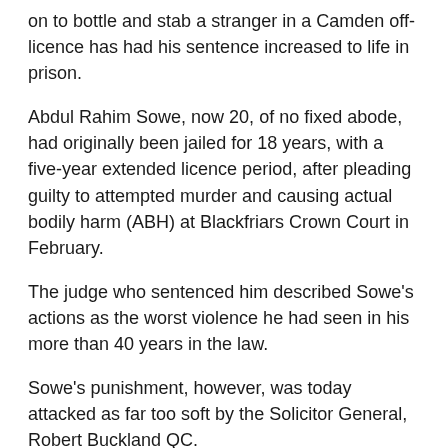on to bottle and stab a stranger in a Camden off-licence has had his sentence increased to life in prison.
Abdul Rahim Sowe, now 20, of no fixed abode, had originally been jailed for 18 years, with a five-year extended licence period, after pleading guilty to attempted murder and causing actual bodily harm (ABH) at Blackfriars Crown Court in February.
The judge who sentenced him described Sowe's actions as the worst violence he had seen in his more than 40 years in the law.
Sowe's punishment, however, was today attacked as far too soft by the Solicitor General, Robert Buckland QC.
And three senior judges at London's Appeal Court agreed with him, upping Sowe's sentence to life.